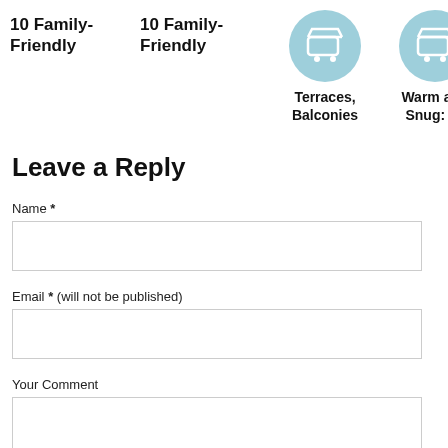10 Family-Friendly
10 Family-Friendly
[Figure (illustration): Light blue circle icon with a shopping cart symbol]
[Figure (illustration): Light blue circle icon with a shopping cart symbol]
Terraces, Balconies
Warm and Snug: 10
Leave a Reply
Name *
Email * (will not be published)
Your Comment